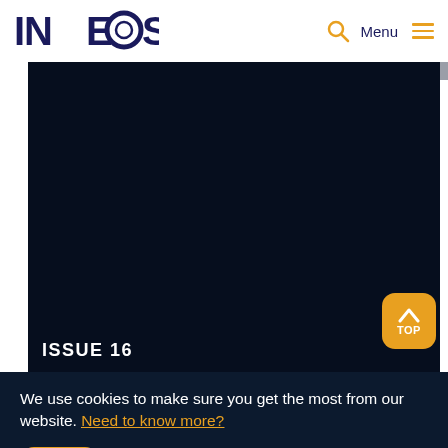INEOS | Menu
[Figure (photo): Dark navy background image area with ISSUE 16 label at bottom left]
ISSUE 16
We use cookies to make sure you get the most from our website. Need to know more?
OK